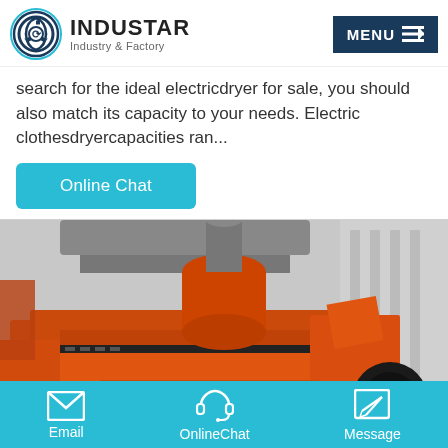INDUSTAR Industry & Factory
search for the ideal electricdryer for sale, you should also match its capacity to your needs. Electric clothesdryercapacities ran...
Online Chat
[Figure (photo): Industrial orange heavy machinery (flotation or mining equipment) photographed inside a factory/industrial building. Large orange metal machine parts visible with cylindrical components above.]
Email   OnlineChat   Message